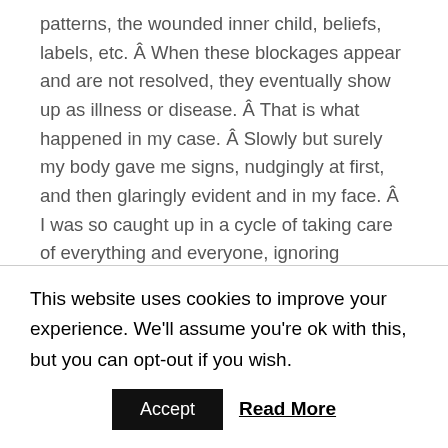patterns, the wounded inner child, beliefs, labels, etc. Â When these blockages appear and are not resolved, they eventually show up as illness or disease. Â That is what happened in my case. Â Slowly but surely my body gave me signs, nudgingly at first, and then glaringly evident and in my face. Â I was so caught up in a cycle of taking care of everything and everyone, ignoring symptoms that arose in my body, trying to control all the uncontrollable situations that were arising around me as my household ship was sinking and my other half (at the time) was literally
This website uses cookies to improve your experience. We'll assume you're ok with this, but you can opt-out if you wish.
Accept  Read More